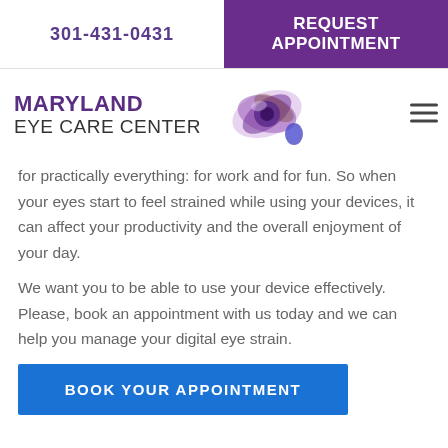301-431-0431
REQUEST APPOINTMENT
[Figure (logo): Maryland Eye Care Center logo with purple flower/eye illustration]
for practically everything: for work and for fun. So when your eyes start to feel strained while using your devices, it can affect your productivity and the overall enjoyment of your day.
We want you to be able to use your device effectively. Please, book an appointment with us today and we can help you manage your digital eye strain.
BOOK YOUR APPOINTMENT